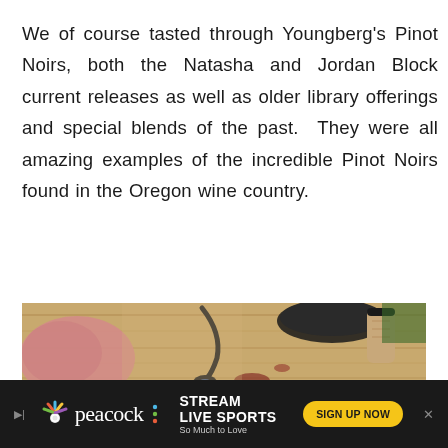We of course tasted through Youngberg's Pinot Noirs, both the Natasha and Jordan Block current releases as well as older library offerings and special blends of the past.  They were all amazing examples of the incredible Pinot Noirs found in the Oregon wine country.
[Figure (photo): Close-up photo of a wooden cutting board with a dark spoon, wine bottle cork, and dark bowl. Pink/salmon colored food visible on the left. Wine droplets on the board.]
[Figure (infographic): Advertisement banner for Peacock streaming service. Dark background with Peacock logo, text 'STREAM LIVE SPORTS So Much to Love', and a yellow 'SIGN UP NOW' button.]